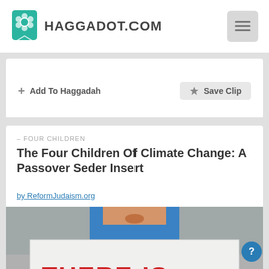HAGGADOT.COM
+ Add To Haggadah
Save Clip
– FOUR CHILDREN
The Four Children Of Climate Change: A Passover Seder Insert
by ReformJudaism.org
[Figure (photo): Child holding a protest sign reading THERE IS NO [planet B] with a globe illustration in place of the word 'planet']